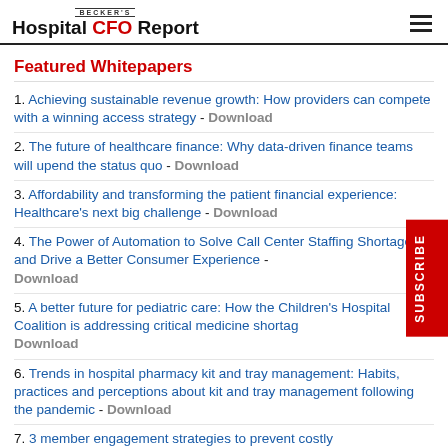BECKER'S Hospital CFO Report
Featured Whitepapers
1. Achieving sustainable revenue growth: How providers can compete with a winning access strategy - Download
2. The future of healthcare finance: Why data-driven finance teams will upend the status quo - Download
3. Affordability and transforming the patient financial experience: Healthcare's next big challenge - Download
4. The Power of Automation to Solve Call Center Staffing Shortages and Drive a Better Consumer Experience - Download
5. A better future for pediatric care: How the Children's Hospital Coalition is addressing critical medicine shortage - Download
6. Trends in hospital pharmacy kit and tray management: Habits, practices and perceptions about kit and tray management following the pandemic - Download
7. 3 member engagement strategies to prevent costly